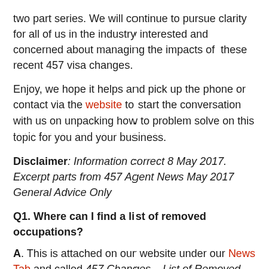two part series. We will continue to pursue clarity for all of us in the industry interested and concerned about managing the impacts of these recent 457 visa changes.
Enjoy, we hope it helps and pick up the phone or contact via the website to start the conversation with us on unpacking how to problem solve on this topic for you and your business.
Disclaimer: Information correct 8 May 2017. Excerpt parts from 457 Agent News May 2017 General Advice Only
Q1. Where can I find a list of removed occupations?
A. This is attached on our website under our News Tab and called 457 Changes – List of Removed